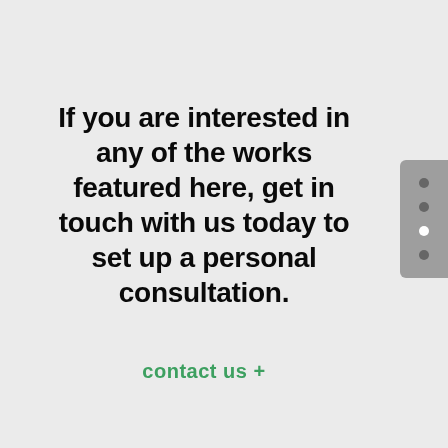If you are interested in any of the works featured here, get in touch with us today to set up a personal consultation.
contact us +